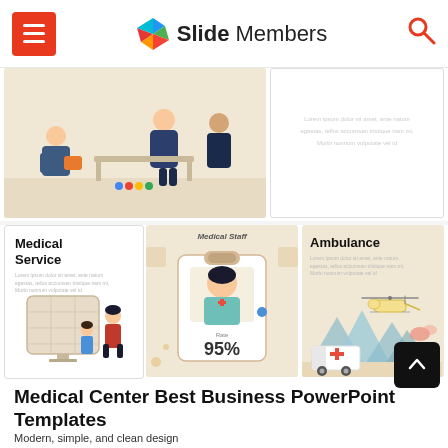Slide Members
[Figure (screenshot): Medical presentation slide showing illustrated people in a beige background]
[Figure (screenshot): White slide with lorem ipsum placeholder text]
[Figure (illustration): Medical Service slide with title and illustrated characters]
[Figure (illustration): Medical Staff slide showing a staff ID card with 95% rating]
[Figure (illustration): Ambulance slide with title and mountain/helicopter illustration]
Medical Center Best Business PowerPoint Templates
Modern, simple, and clean design
Quick and easy to customize